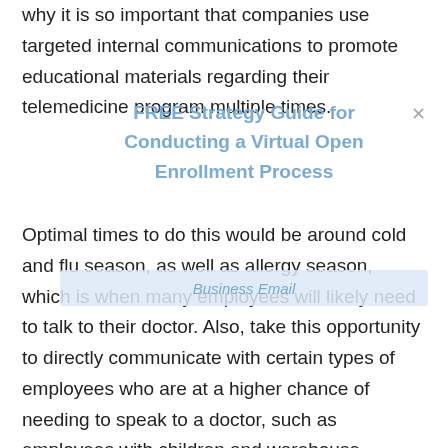why it is so important that companies use targeted internal communications to promote educational materials regarding their telemedicine program multiple times.
Optimal times to do this would be around cold and flu season, as well as allergy season, which is when many employees will likely need to talk to their doctor. Also, take this opportunity to directly communicate with certain types of employees who are at a higher chance of needing to speak to a doctor, such as employees with children and warehouse workers; personalized communications is key